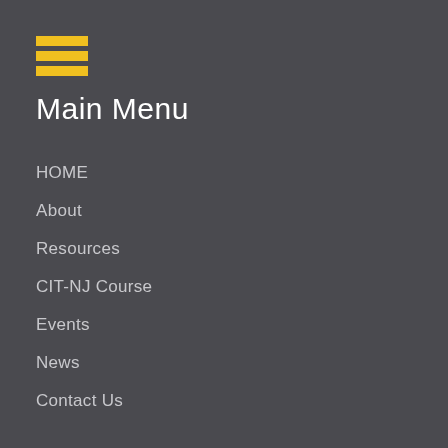[Figure (illustration): Hamburger menu icon: three horizontal yellow bars stacked vertically]
Main Menu
HOME
About
Resources
CIT-NJ Course
Events
News
Contact Us
Resources
National Alliance for the Mental Ill
CIT International